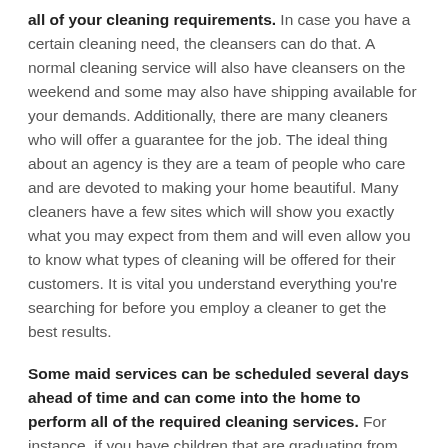all of your cleaning requirements. In case you have a certain cleaning need, the cleansers can do that. A normal cleaning service will also have cleansers on the weekend and some may also have shipping available for your demands. Additionally, there are many cleaners who will offer a guarantee for the job. The ideal thing about an agency is they are a team of people who care and are devoted to making your home beautiful. Many cleaners have a few sites which will show you exactly what you may expect from them and will even allow you to know what types of cleaning will be offered for their customers. It is vital you understand everything you're searching for before you employ a cleaner to get the best results.
Some maid services can be scheduled several days ahead of time and can come into the home to perform all of the required cleaning services. For instance, if you have children that are graduating from school, you can hire a home cleaning service that